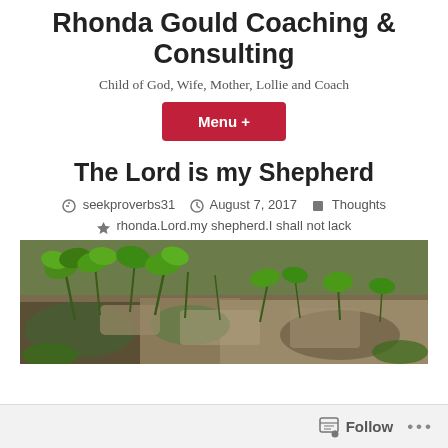Rhonda Gould Coaching & Consulting
Child of God, Wife, Mother, Lollie and Coach
Menu +
The Lord is my Shepherd
seekproverbs31   August 7, 2017   Thoughts   rhonda.Lord.my shepherd.I shall not lack
[Figure (photo): Outdoor nature photo showing green leafy plants growing among rocks and soil]
Follow   ...